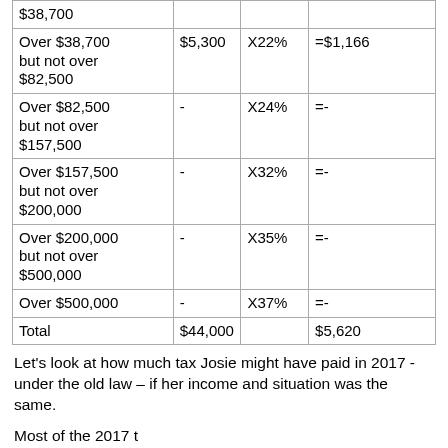| $38,700 |  |  |  |
| Over $38,700 but not over $82,500 | $5,300 | X22% | =$1,166 |
| Over $82,500 but not over $157,500 | - | X24% | =- |
| Over $157,500 but not over $200,000 | - | X32% | =- |
| Over $200,000 but not over $500,000 | - | X35% | =- |
| Over $500,000 | - | X37% | =- |
| Total | $44,000 |  | $5,620 |
Let's look at how much tax Josie might have paid in 2017 -under the old law – if her income and situation was the same.
Most of the 2017 tax rates were higher than the new law...